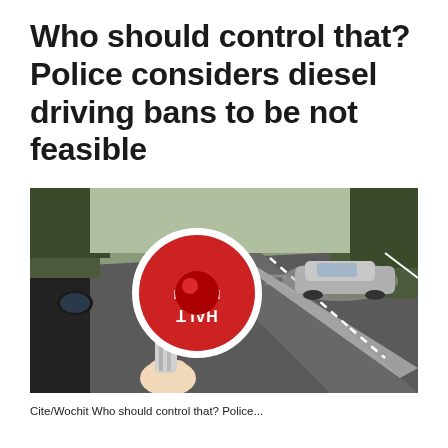Who should control that? Police considers diesel driving bans to be not feasible
[Figure (photo): A police officer holding a red and white HALT POLIZEI stop paddle on a road, with a silver car driving past in the background, seen from inside a police vehicle.]
Cite/Wochit Who should control that? Police...